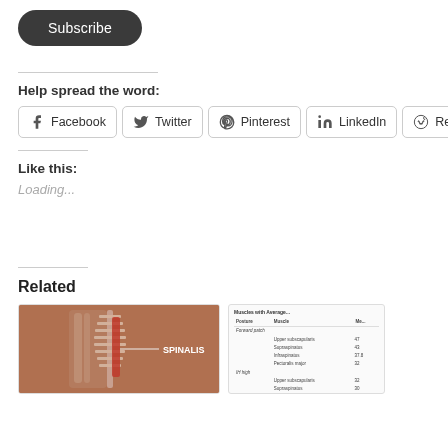[Figure (other): Dark rounded Subscribe button]
Help spread the word:
[Figure (other): Row of social sharing buttons: Facebook, Twitter, Pinterest, LinkedIn, Reddit, and one more partially visible]
Like this:
Loading...
Related
[Figure (photo): Anatomy image showing the spinalis muscle labeled on a torso]
[Figure (table-as-image): Table excerpt showing muscles with average data]